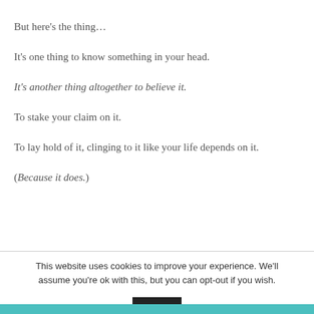But here's the thing…
It's one thing to know something in your head.
It's another thing altogether to believe it.
To stake your claim on it.
To lay hold of it, clinging to it like your life depends on it.
(Because it does.)
This website uses cookies to improve your experience. We'll assume you're ok with this, but you can opt-out if you wish.
Shares  [social icons: Facebook, Pinterest, Twitter, Like, Google+, Email, Crown]